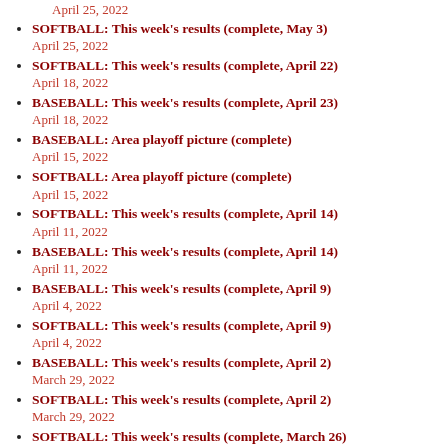SOFTBALL: This week's results (complete, May 3)
April 25, 2022
SOFTBALL: This week's results (complete, April 22)
April 18, 2022
BASEBALL: This week's results (complete, April 23)
April 18, 2022
BASEBALL: Area playoff picture (complete)
April 15, 2022
SOFTBALL: Area playoff picture (complete)
April 15, 2022
SOFTBALL: This week's results (complete, April 14)
April 11, 2022
BASEBALL: This week's results (complete, April 14)
April 11, 2022
BASEBALL: This week's results (complete, April 9)
April 4, 2022
SOFTBALL: This week's results (complete, April 9)
April 4, 2022
BASEBALL: This week's results (complete, April 2)
March 29, 2022
SOFTBALL: This week's results (complete, April 2)
March 29, 2022
SOFTBALL: This week's results (complete, March 26)
March 22, 2022